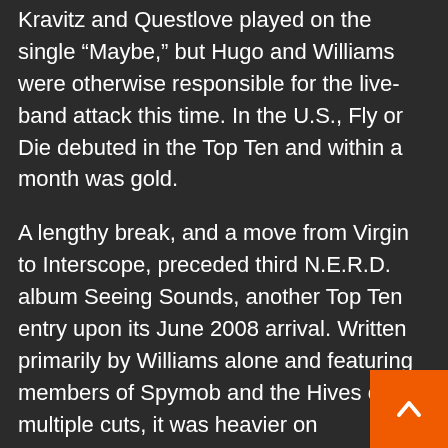Kravitz and Questlove played on the single "Maybe," but Hugo and Williams were otherwise responsible for the live-band attack this time. In the U.S., Fly or Die debuted in the Top Ten and within a month was gold.
A lengthy break, and a move from Virgin to Interscope, preceded third N.E.R.D. album Seeing Sounds, another Top Ten entry upon its June 2008 arrival. Written primarily by Williams alone and featuring members of Spymob and the Hives on multiple cuts, it was heavier on straightforward rockers. Led with the Nelly Furtado collaboration “Hot-N-Fun,” and also featuring appearances from Daft Punk and T.I., Nothing appeared in November 2010. Hugo and Williams once again wrote the majority of the material as a team, band reconvened a few years later to contribute a handful of goofy songs to the soundtrack for The Spongebob Movie: Sponge Out of Water. A proper